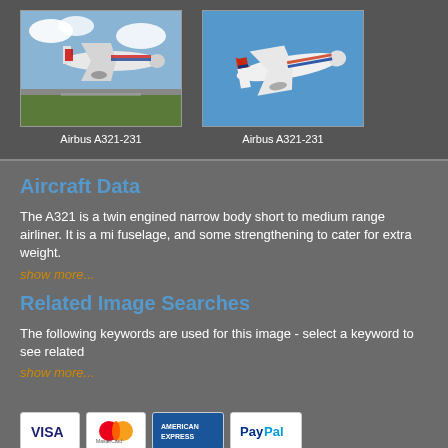[Figure (photo): Photo of American Airlines Airbus A321-231 landing with clouds in background]
Airbus A321-231
[Figure (photo): Photo of American Airlines Airbus A321-231 in flight against blue sky]
Airbus A321-231
Aircraft Data
The A321 is a twin engined narrow body short to medium range airliner. It is a mi fuselage, and some strengthening to cater for extra weight.
show more...
Related Image Searches
The following keywords are used for this image - select a keyword to see related
show more...
[Figure (other): Payment icons: Visa, MasterCard, American Express, PayPal]
Copyright AirTeamImages 2003-2022
Images © the respective photographers
This site uses Cookies. Cookies are very small text files that are stored on your computer when you visit some websites. We use cookies to maximise your experience and make our website easier for you to use. Learn more